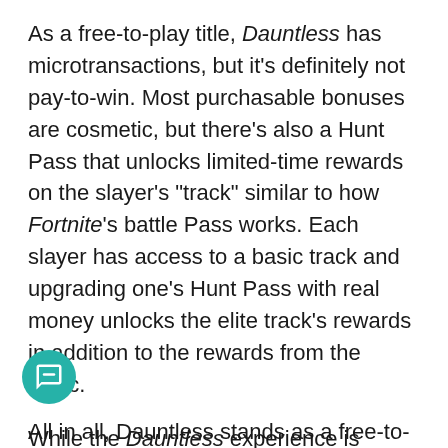As a free-to-play title, Dauntless has microtransactions, but it's definitely not pay-to-win. Most purchasable bonuses are cosmetic, but there's also a Hunt Pass that unlocks limited-time rewards on the slayer's "track" similar to how Fortnite's battle Pass works. Each slayer has access to a basic track and upgrading one's Hunt Pass with real money unlocks the elite track's rewards in addition to the rewards from the basic.
While the Dauntless experience is generally solid, it does have a few bugs. Some of them, like the inability to cancel matchmaking or getting frozen after a hunt are annoyingly forgivable, while others like behemoths getting stuck in the environment or having unresponsive controls can ruin the entire experience. The good news is that Phoenix Labs is constantly rolling out updates to remove glitches, game-breaking exploits, and to rebalance the game.
All in all, Dauntless stands as a free-to-play game...